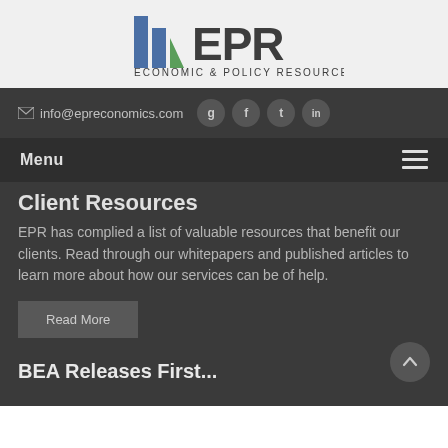[Figure (logo): EPR Economic & Policy Resources logo with blue and green geometric shapes forming a stylized 'E' before the letters EPR]
✉ info@epreconomics.com
Menu ☰
Client Resources
EPR has complied a list of valuable resources that benefit our clients. Read through our whitepapers and published articles to learn more about how our services can be of help.
Read More
BEA Releases First...